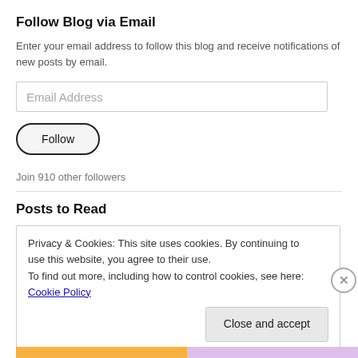Follow Blog via Email
Enter your email address to follow this blog and receive notifications of new posts by email.
[Figure (other): Email Address input field (text box with placeholder)]
[Figure (other): Follow button (rounded pill button)]
Join 910 other followers
Posts to Read
Privacy & Cookies: This site uses cookies. By continuing to use this website, you agree to their use.
To find out more, including how to control cookies, see here: Cookie Policy
Close and accept